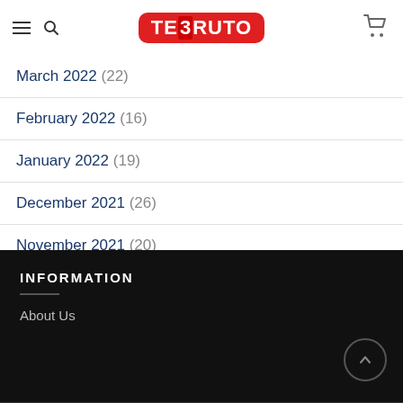TE3RUTO
March 2022 (22)
February 2022 (16)
January 2022 (19)
December 2021 (26)
November 2021 (20)
INFORMATION
About Us